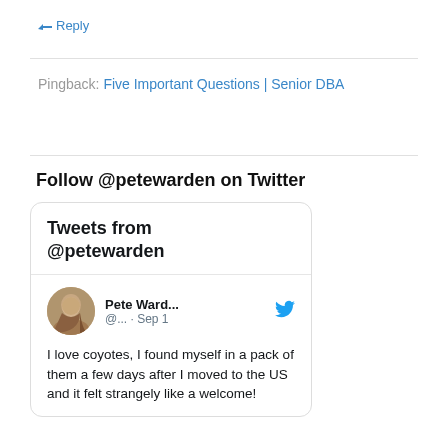↳ Reply
Pingback: Five Important Questions | Senior DBA
Follow @petewarden on Twitter
[Figure (screenshot): Twitter widget showing tweets from @petewarden. Includes a tweet from Pete Ward... (@... · Sep 1) with avatar photo, Twitter bird logo, and tweet text: 'I love coyotes, I found myself in a pack of them a few days after I moved to the US and it felt strangely like a welcome!']